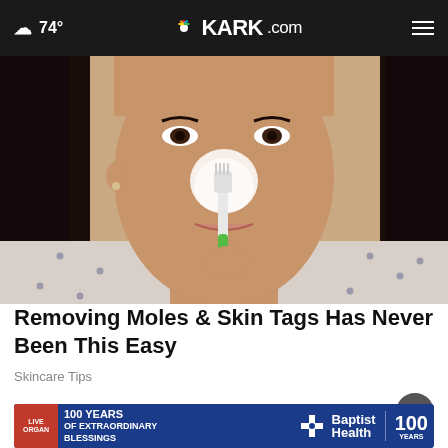74° KARK.com
[Figure (photo): A woman applying white cream/paste to her nose area with a green-handled toothbrush, wearing a white polka-dot blouse, looking at the camera.]
Removing Moles & Skin Tags Has Never Been This Easy
Skincare Tips
[Figure (photo): Baptist Health advertisement banner: '100 YEARS OF EXTRAORDINARY BLESSINGS' with Baptist Health logo and '100 YEARS' badge]